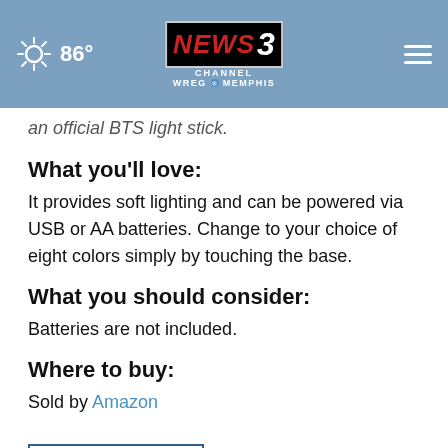86° NEWS CHANNEL 3 WREG MEMPHIS
an official BTS light stick.
What you'll love:
It provides soft lighting and can be powered via USB or AA batteries. Change to your choice of eight colors simply by touching the base.
What you should consider:
Batteries are not included.
Where to buy:
Sold by Amazon
SHOP NOW